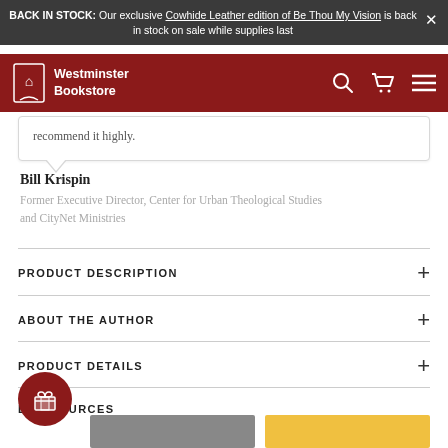BACK IN STOCK: Our exclusive Cowhide Leather edition of Be Thou My Vision is back in stock on sale while supplies last
[Figure (screenshot): Westminster Bookstore navigation bar with logo, search, cart, and menu icons on dark red background]
recommend it highly.
Bill Krispin
Former Executive Director, Center for Urban Theological Studies and CityNet Ministries
PRODUCT DESCRIPTION
ABOUT THE AUTHOR
PRODUCT DETAILS
D RESOURCES